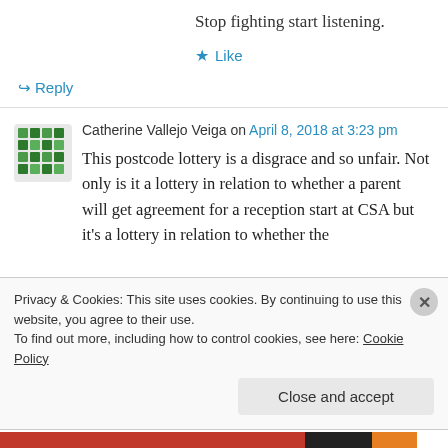Stop fighting start listening.
★ Like
↳ Reply
Catherine Vallejo Veiga on April 8, 2018 at 3:23 pm
This postcode lottery is a disgrace and so unfair. Not only is it a lottery in relation to whether a parent will get agreement for a reception start at CSA but it's a lottery in relation to whether the
Privacy & Cookies: This site uses cookies. By continuing to use this website, you agree to their use. To find out more, including how to control cookies, see here: Cookie Policy
Close and accept